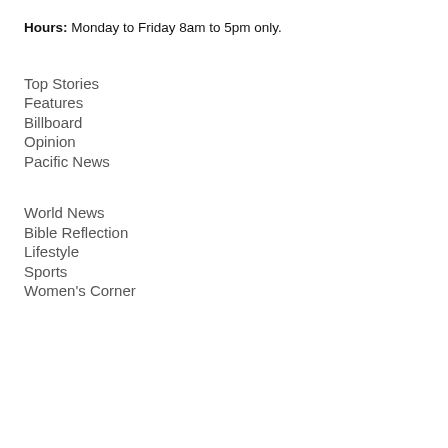Hours: Monday to Friday 8am to 5pm only.
Top Stories
Features
Billboard
Opinion
Pacific News
World News
Bible Reflection
Lifestyle
Sports
Women's Corner